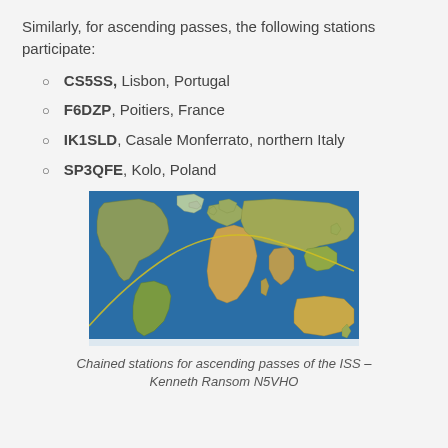Similarly, for ascending passes, the following stations participate:
CS5SS, Lisbon, Portugal
F6DZP, Poitiers, France
IK1SLD, Casale Monferrato, northern Italy
SP3QFE, Kolo, Poland
[Figure (map): World map showing chained stations for ascending passes of the ISS, with orbital path arc drawn across the map.]
Chained stations for ascending passes of the ISS – Kenneth Ransom N5VHO